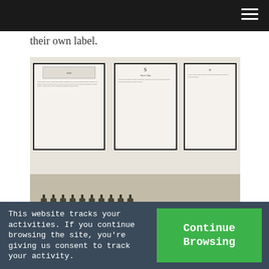their own label.
[Figure (photo): Interior room display with three framed documents/labels on wall and a long black shelf/table below holding multiple wine bottles with white labels]
Texas Wine Lover
This website tracks your activities. If you continue browsing the site, you're giving us consent to track your activity.
Continue Browsing